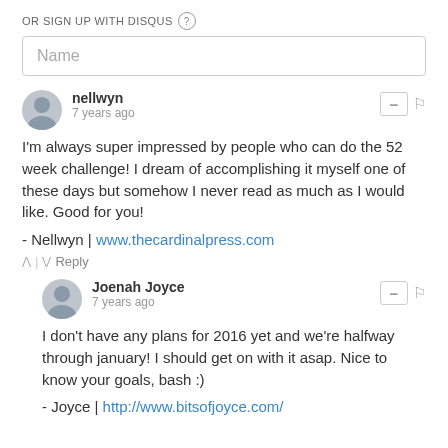OR SIGN UP WITH DISQUS ?
Name
nellwyn
7 years ago
I'm always super impressed by people who can do the 52 week challenge! I dream of accomplishing it myself one of these days but somehow I never read as much as I would like. Good for you!
- Nellwyn | www.thecardinalpress.com
Reply
Joenah Joyce
7 years ago
I don't have any plans for 2016 yet and we're halfway through january! I should get on with it asap. Nice to know your goals, bash :)
- Joyce | http://www.bitsofjoyce.com/